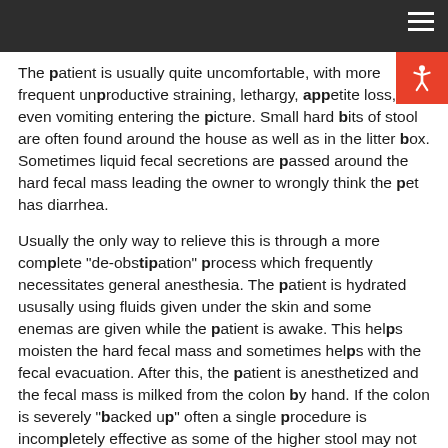The patient is usually quite uncomfortable, with more frequent unproductive straining, lethargy, appetite loss, and even vomiting entering the picture. Small hard bits of stool are often found around the house as well as in the litter box. Sometimes liquid fecal secretions are passed around the hard fecal mass leading the owner to wrongly think the pet has diarrhea.
Usually the only way to relieve this is through a more complete "de-obstipation" process which frequently necessitates general anesthesia. The patient is hydrated ususally using fluids given under the skin and some enemas are given while the patient is awake. This helps moisten the hard fecal mass and sometimes helps with the fecal evacuation. After this, the patient is anesthetized and the fecal mass is milked from the colon by hand. If the colon is severely "backed up" often a single procedure is incompletely effective as some of the higher stool may not be accessible at the